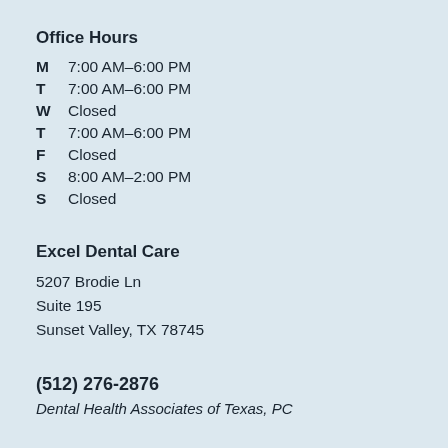Office Hours
M  7:00 AM–6:00 PM
T  7:00 AM–6:00 PM
W  Closed
T  7:00 AM–6:00 PM
F  Closed
S  8:00 AM–2:00 PM
S  Closed
Excel Dental Care
5207 Brodie Ln
Suite 195
Sunset Valley, TX 78745
(512) 276-2876
Dental Health Associates of Texas, PC